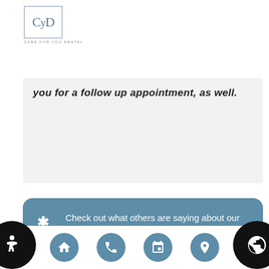[Figure (logo): Care For You Dental logo with stylized CYD letters in a square border]
you for a follow up appointment, as well.
Check out what others are saying about our tooth extraction services on Yelp:  Tooth Extraction Las Vegas
[Figure (infographic): Bottom navigation bar with home, phone, calendar, and location icons in teal circles, plus accessibility and globe icons at corners]